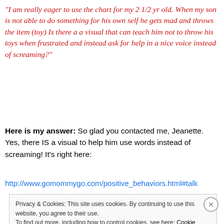“I am really eager to use the chart for my 2 1/2 yr old. When my son is not able to do something for his own self he gets mad and throws the item (toy) Is there a a visual that can teach him not to throw his toys when frustrated and instead ask for help in a nice voice instead of screaming?”
Here is my answer:  So glad you contacted me, Jeanette. Yes, there IS a visual to help him use words instead of screaming! It’s right here:
http://www.gomommygo.com/positive_behaviors.html#talk
Privacy & Cookies: This site uses cookies. By continuing to use this website, you agree to their use. To find out more, including how to control cookies, see here: Cookie Policy
Close and accept